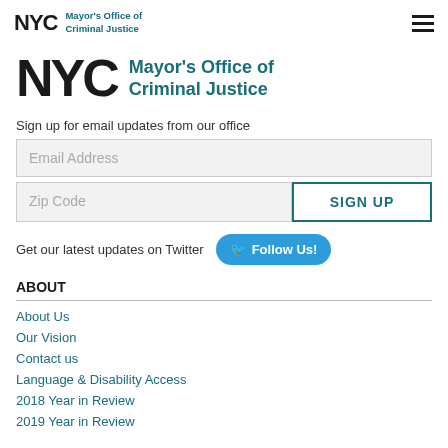NYC Mayor's Office of Criminal Justice
[Figure (logo): NYC Mayor's Office of Criminal Justice large logo with NYC text and teal organization name]
Sign up for email updates from our office
Email Address
Zip Code
SIGN UP
Get our latest updates on Twitter
Follow Us!
ABOUT
About Us
Our Vision
Contact us
Language & Disability Access
2018 Year in Review
2019 Year in Review